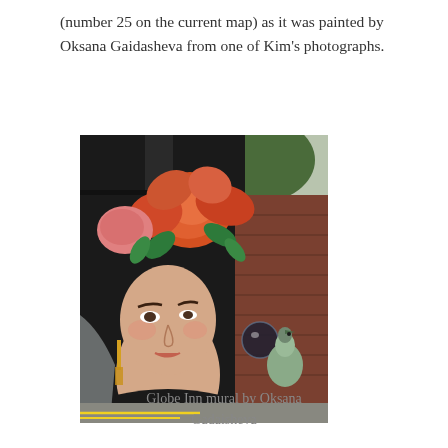(number 25 on the current map) as it was painted by Oksana Gaidasheva from one of Kim's photographs.
[Figure (photo): Photograph of a large mural painted on the side of a dark building (Globe Inn). The mural depicts a woman's face with large red and orange roses in her hair, wearing tassel earrings and a black top. A bird (possibly an emu) is visible in the lower right of the mural. Trees are visible in the upper right background. The street is visible at the bottom.]
Globe Inn mural by Oksana Gadaisheva